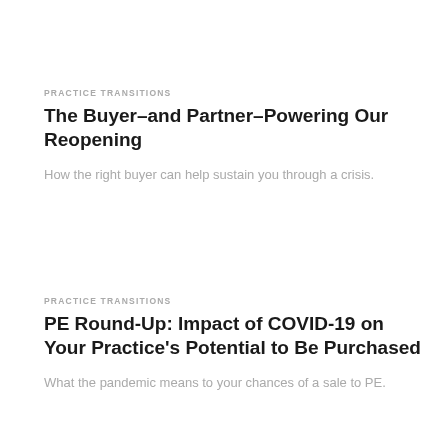PRACTICE TRANSITIONS
The Buyer–and Partner–Powering Our Reopening
How the right buyer can help sustain you through a crisis.
PRACTICE TRANSITIONS
PE Round-Up: Impact of COVID-19 on Your Practice's Potential to Be Purchased
What the pandemic means to your chances of a sale to PE.